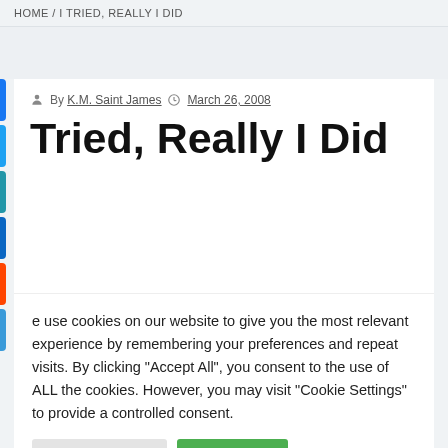HOME / I TRIED, REALLY I DID
By K.M. Saint James   March 26, 2008
Tried, Really I Did
We use cookies on our website to give you the most relevant experience by remembering your preferences and repeat visits. By clicking "Accept All", you consent to the use of ALL the cookies. However, you may visit "Cookie Settings" to provide a controlled consent.